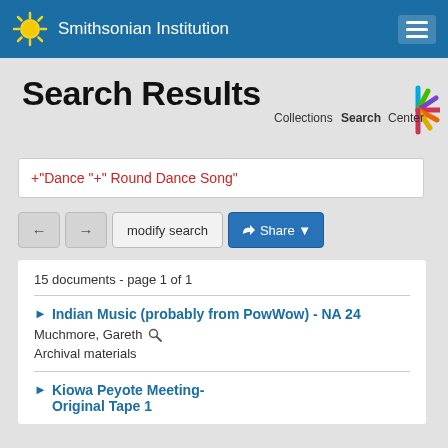Smithsonian Institution
Search Results
[Figure (logo): Collections Search Center logo with colorful starburst icon]
+"Dance "+" Round Dance Song"
← → modify search  Share
15 documents - page 1 of 1
▶ Indian Music (probably from PowWow) - NA 24
Muchmore, Gareth
Archival materials
▶ Kiowa Peyote Meeting- Original Tape 1